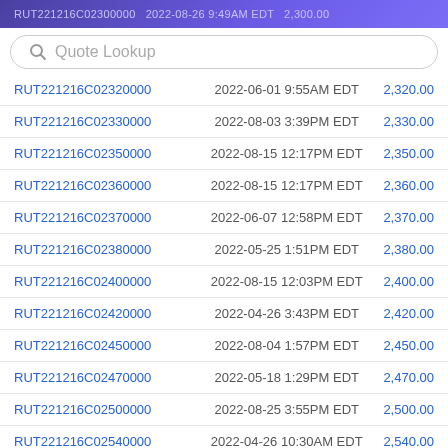RUT221216C02300000  2022-08-26 9:49AM EDT  2,300.00
Quote Lookup
| Symbol | Last Trade | Strike |
| --- | --- | --- |
| RUT221216C02320000 | 2022-06-01 9:55AM EDT | 2,320.00 |
| RUT221216C02330000 | 2022-08-03 3:39PM EDT | 2,330.00 |
| RUT221216C02350000 | 2022-08-15 12:17PM EDT | 2,350.00 |
| RUT221216C02360000 | 2022-08-15 12:17PM EDT | 2,360.00 |
| RUT221216C02370000 | 2022-06-07 12:58PM EDT | 2,370.00 |
| RUT221216C02380000 | 2022-05-25 1:51PM EDT | 2,380.00 |
| RUT221216C02400000 | 2022-08-15 12:03PM EDT | 2,400.00 |
| RUT221216C02420000 | 2022-04-26 3:43PM EDT | 2,420.00 |
| RUT221216C02450000 | 2022-08-04 1:57PM EDT | 2,450.00 |
| RUT221216C02470000 | 2022-05-18 1:29PM EDT | 2,470.00 |
| RUT221216C02500000 | 2022-08-25 3:55PM EDT | 2,500.00 |
| RUT221216C02540000 | 2022-04-26 10:30AM EDT | 2,540.00 |